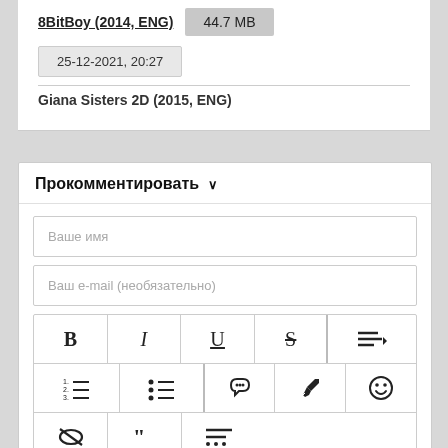8BitBoy (2014, ENG)
44.7 MB
25-12-2021, 20:27
Giana Sisters 2D (2015, ENG)
Прокомментировать ∨
Ваше имя
Ваш e-mail (необязательно)
[Figure (screenshot): Text editor toolbar with formatting buttons: Bold (B), Italic (I), Underline (U), Strikethrough (S), Align menu, Ordered list, Unordered list, Link, Key, Smiley, Strikethrough-eye, Quote, Ellipsis-list icons]